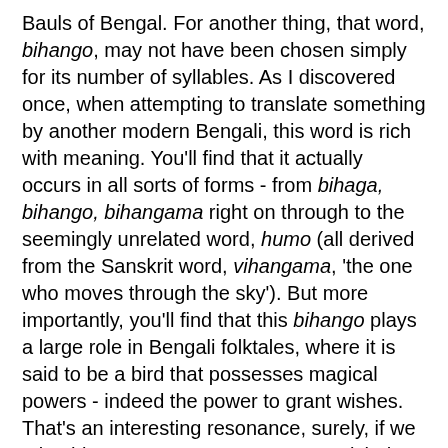Bauls of Bengal. For another thing, that word, bihango, may not have been chosen simply for its number of syllables. As I discovered once, when attempting to translate something by another modern Bengali, this word is rich with meaning. You'll find that it actually occurs in all sorts of forms - from bihaga, bihango, bihangama right on through to the seemingly unrelated word, humo (all derived from the Sanskrit word, vihangama, 'the one who moves through the sky'). But more importantly, you'll find that this bihango plays a large role in Bengali folktales, where it is said to be a bird that possesses magical powers - indeed the power to grant wishes. That's an interesting resonance, surely, if we take this poem to express Tagore's wish that he remain connected to his readers throughout time.
Well that's enough to make my point that we're missing something. It's not a point that requires a lot of elaboration. But it does give one pause when the